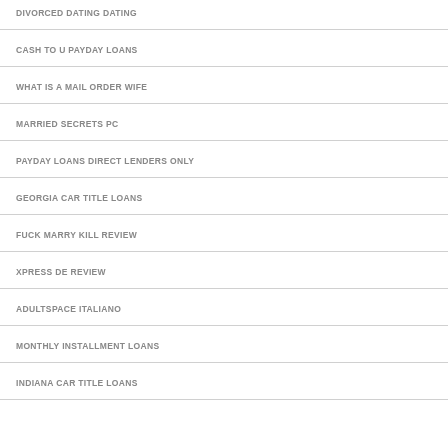DIVORCED DATING DATING
CASH TO U PAYDAY LOANS
WHAT IS A MAIL ORDER WIFE
MARRIED SECRETS PC
PAYDAY LOANS DIRECT LENDERS ONLY
GEORGIA CAR TITLE LOANS
FUCK MARRY KILL REVIEW
XPRESS DE REVIEW
ADULTSPACE ITALIANO
MONTHLY INSTALLMENT LOANS
INDIANA CAR TITLE LOANS